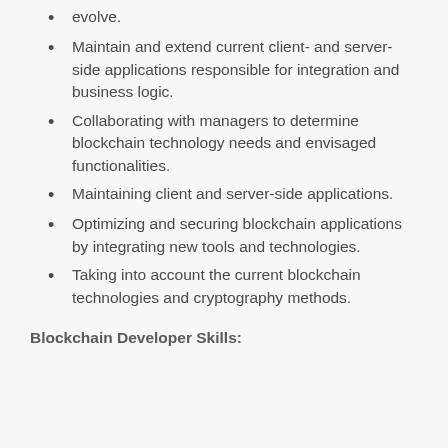evolve.
Maintain and extend current client- and server-side applications responsible for integration and business logic.
Collaborating with managers to determine blockchain technology needs and envisaged functionalities.
Maintaining client and server-side applications.
Optimizing and securing blockchain applications by integrating new tools and technologies.
Taking into account the current blockchain technologies and cryptography methods.
Blockchain Developer Skills: